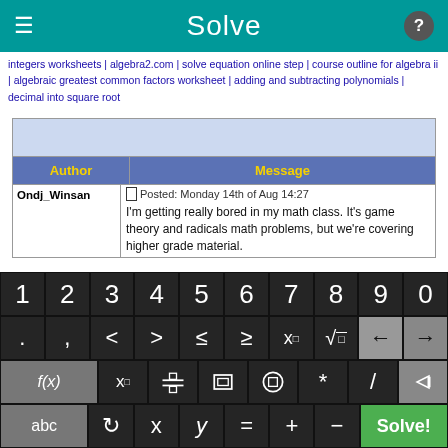Solve
integers worksheets | algebra2.com | solve equation online step | course outline for algebra ii | algebraic greatest common factors worksheet | adding and subtracting polynomials | decimal into square root
| Author | Message |
| --- | --- |
| Ondj_Winsan | Posted: Monday 14th of Aug 14:27
I'm getting really bored in my math class. It's game theory and radicals math problems, but we're covering higher grade material. |
[Figure (screenshot): Math keyboard with digits 1-0, math symbols (<, >, ≤, ≥, x^□, √□, backspace, forward arrows), function buttons (f(x), x_□, fraction, absolute value, parentheses, *, /), and bottom row (abc, loop, x, y, =, +, -, Solve! button)]